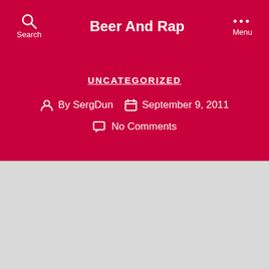Beer And Rap
UNCATEGORIZED
By SergDun  September 9, 2011
No Comments
stayhatin:
[Figure (photo): Broken image placeholder inside a blockquote with a red left border]